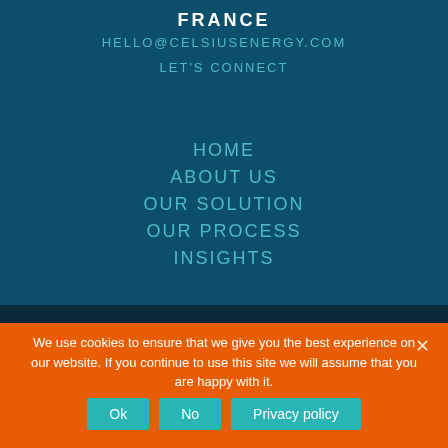FRANCE
HELLO@CELSIUSENERGY.COM
LET'S CONNECT
HOME
ABOUT US
OUR SOLUTION
OUR PROCESS
INSIGHTS
We use cookies to ensure that we give you the best experience on our website. If you continue to use this site we will assume that you are happy with it.
Ok  No  Privacy policy